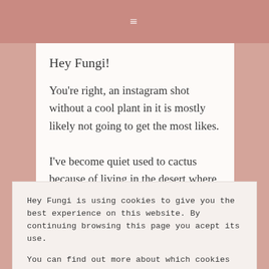≡
Hey Fungi!
You're right, an instagram shot without a cool plant in it is mostly likely not going to get the most likes.
I've become quiet used to cactus because of living in the desert where it's easy to spot them. I love your plant selection. I can definitely use more plants for more homey vibes and lots of
Hey Fungi is using cookies to give you the best experience on this website. By continuing browsing this page you acept its use.

You can find out more about which cookies we are using or switch them off in settings . Privacy Policy
Close & Accept